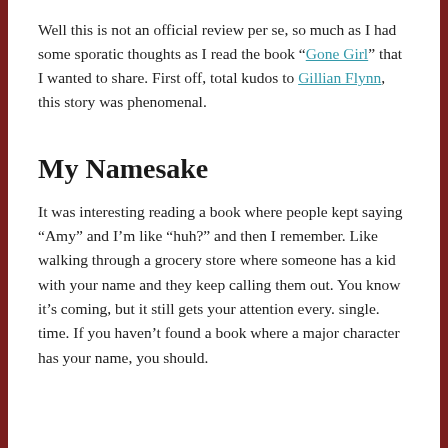Well this is not an official review per se, so much as I had some sporatic thoughts as I read the book “Gone Girl” that I wanted to share. First off, total kudos to Gillian Flynn, this story was phenomenal.
My Namesake
It was interesting reading a book where people kept saying “Amy” and I’m like “huh?” and then I remember. Like walking through a grocery store where someone has a kid with your name and they keep calling them out. You know it’s coming, but it still gets your attention every. single. time. If you haven’t found a book where a major character has your name, you should.